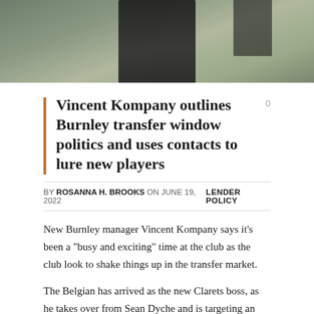[Figure (photo): Blurred outdoor photo showing a person in dark clothing, used as article header image]
Vincent Kompany outlines Burnley transfer window politics and uses contacts to lure new players
BY ROSANNA H. BROOKS ON JUNE 19, 2022   LENDER POLICY
New Burnley manager Vincent Kompany says it’s been a “busy and exciting” time at the club as the club look to shake things up in the transfer market.
The Belgian has arrived as the new Clarets boss, as he takes over from Sean Dyche and is targeting an immediate return to the Premier League. Kompany was officially announced as the new